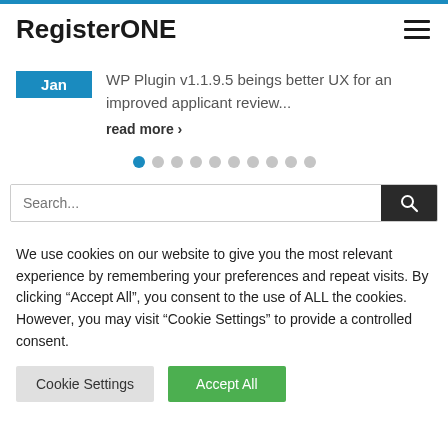RegisterONE
WP Plugin v1.1.9.5 beings better UX for an improved applicant review...
read more >
[Figure (other): Pagination dots row: 10 dots, first dot is blue/active, rest are grey]
Search...
We use cookies on our website to give you the most relevant experience by remembering your preferences and repeat visits. By clicking "Accept All", you consent to the use of ALL the cookies. However, you may visit "Cookie Settings" to provide a controlled consent.
Cookie Settings
Accept All